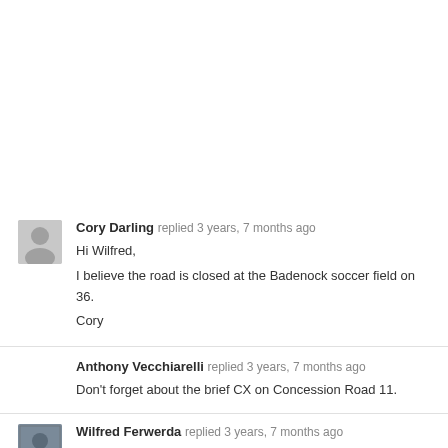Cory Darling replied 3 years, 7 months ago
Hi Wilfred,
I believe the road is closed at the Badenock soccer field on 36.
Cory
Anthony Vecchiarelli replied 3 years, 7 months ago
Don't forget about the brief CX on Concession Road 11.
Wilfred Ferwerda replied 3 years, 7 months ago
Crap!